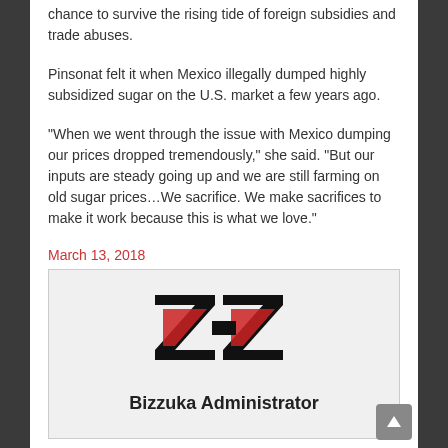chance to survive the rising tide of foreign subsidies and trade abuses.
Pinsonat felt it when Mexico illegally dumped highly subsidized sugar on the U.S. market a few years ago.
"When we went through the issue with Mexico dumping our prices dropped tremendously," she said. "But our inputs are steady going up and we are still farming on old sugar prices…We sacrifice. We make sacrifices to make it work because this is what we love."
March 13, 2018
[Figure (logo): Bizzuka logo — stylized ZZ letterform in black with red diagonal fill]
Bizzuka Administrator